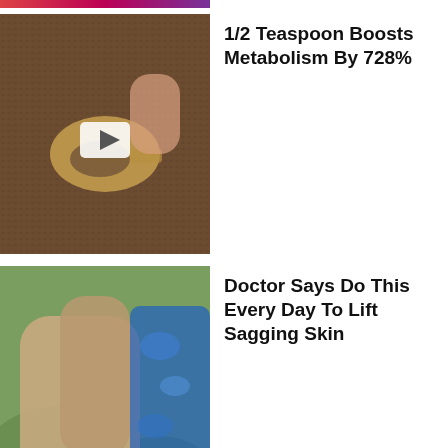[Figure (photo): Partial top strip showing colorful image at top of page]
[Figure (photo): Hand holding a wooden spoon with seeds on a bed of seeds, with a video play button overlay]
1/2 Teaspoon Boosts Metabolism By 728%
[Figure (photo): Close-up of an elderly person's arm and leg, wearing a blue floral dress, with green foliage in background]
Doctor Says Do This Every Day To Lift Sagging Skin
[Figure (photo): Top view of swollen bare feet on a white surface]
What Swollen Feet Tell You About Your Blood Pressure